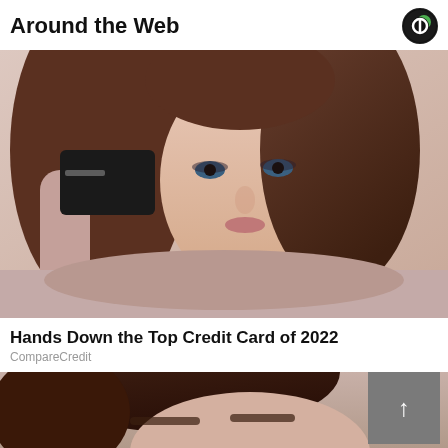Around the Web
[Figure (photo): Young brunette woman in a pink knit off-shoulder sweater holding up a black credit card, looking at camera against a beige/pink background]
Hands Down the Top Credit Card of 2022
CompareCredit
[Figure (photo): Partial close-up photo of a person's face, cropped showing forehead and hair area, with a gray scroll-to-top button overlay in the bottom right corner]